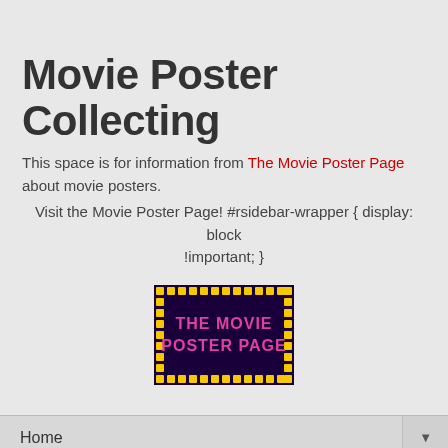Movie Poster Collecting
This space is for information from The Movie Poster Page about movie posters.
    Visit the Movie Poster Page! #rsidebar-wrapper { display: block !important; }
[Figure (logo): The Movie Poster Page logo — yellow dotted border on dark background with pink/magenta text reading THE MOVIE POSTER PAGE]
Home
Saturday, July 25, 2015
James and the Giant Peach (1996) - (Real Type) US one-sheet